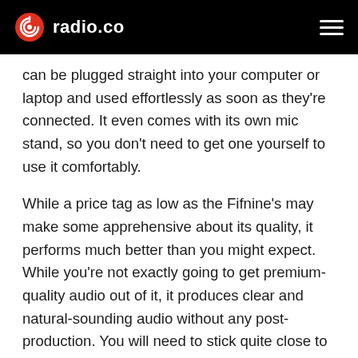radio.co
can be plugged straight into your computer or laptop and used effortlessly as soon as they're connected. It even comes with its own mic stand, so you don't need to get one yourself to use it comfortably.
While a price tag as low as the Fifnine's may make some apprehensive about its quality, it performs much better than you might expect. While you're not exactly going to get premium-quality audio out of it, it produces clear and natural-sounding audio without any post-production. You will need to stick quite close to it when recording as it tends to struggle when you're far away.
So while it may not be perfect, the Fifnine makes a rock-